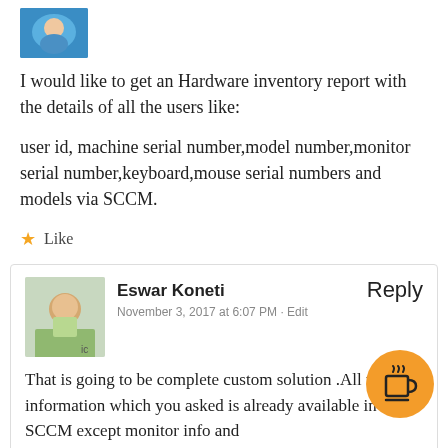[Figure (photo): Blue avatar/profile image at top]
I would like to get an Hardware inventory report with the details of all the users like:
user id, machine serial number,model number,monitor serial number,keyboard,mouse serial numbers and models via SCCM.
★ Like
Eswar Koneti
November 3, 2017 at 6:07 PM · Edit
Reply
That is going to be complete custom solution .All the information which you asked is already available in SCCM except monitor info and mouse serial etc for which you may have to use custom solution or invest time to get it done.